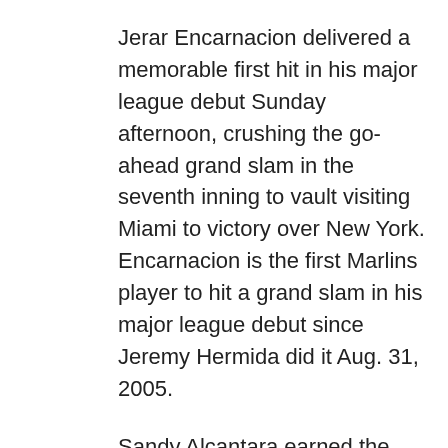Jerar Encarnacion delivered a memorable first hit in his major league debut Sunday afternoon, crushing the go-ahead grand slam in the seventh inning to vault visiting Miami to victory over New York. Encarnacion is the first Marlins player to hit a grand slam in his major league debut since Jeremy Hermida did it Aug. 31, 2005.
Sandy Alcantara earned the win by tossing eight solid innings for the Marlins, who snapped a three-game losing streak. Alcantara (7-2) allowed six hits and one walk while striking out eight